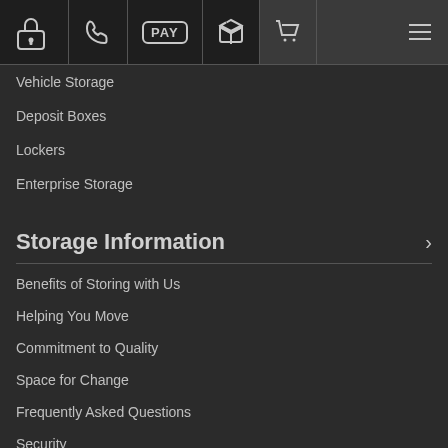Navigation bar with lock, phone, PAY, box, cart, and menu icons
Vehicle Storage
Deposit Boxes
Lockers
Enterprise Storage
Storage Information
Benefits of Storing with Us
Helping You Move
Commitment to Quality
Space for Change
Frequently Asked Questions
Security
24/7 Access